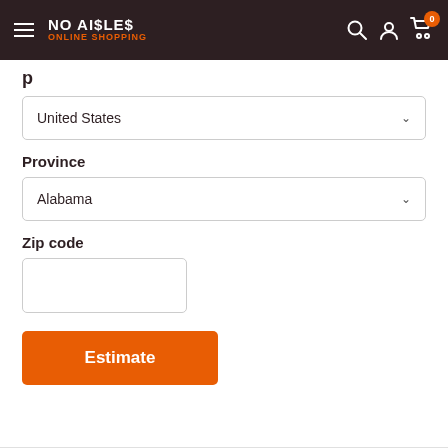NO AISLES ONLINE SHOPPING
United States (dropdown)
Province
Alabama (dropdown)
Zip code
Estimate (button)